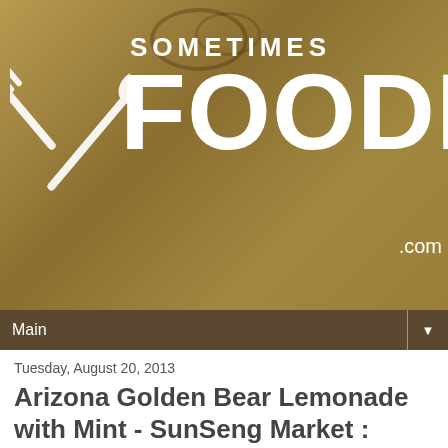[Figure (logo): SomestimesFoodie.com website header banner with crossed fork and spoon logo, 'SOMETIMES' text above large 'FOODIE' text on a brown/tan textured background with coffee stain marks]
Main ▼
Tuesday, August 20, 2013
Arizona Golden Bear Lemonade with Mint - SunSeng Market : Pennsauken, NJ
[Figure (logo): Circular watermark/stamp logo reading 'Poison & Antidote' with URL poison-and-antidote.net below]
[Figure (photo): Top of a gold/yellow Arizona beverage can, partially visible at bottom of page]